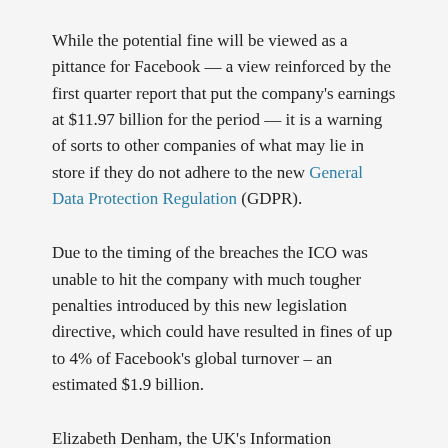While the potential fine will be viewed as a pittance for Facebook — a view reinforced by the first quarter report that put the company's earnings at $11.97 billion for the period — it is a warning of sorts to other companies of what may lie in store if they do not adhere to the new General Data Protection Regulation (GDPR).
Due to the timing of the breaches the ICO was unable to hit the company with much tougher penalties introduced by this new legislation directive, which could have resulted in fines of up to 4% of Facebook's global turnover – an estimated $1.9 billion.
Elizabeth Denham, the UK's Information Commissioner, said: "Facebook has failed to provide the kind of...